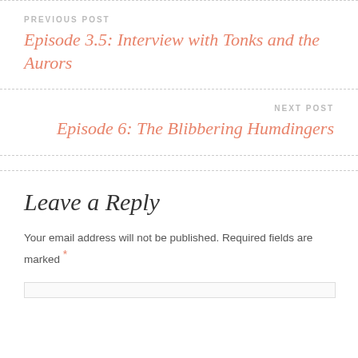PREVIOUS POST
Episode 3.5: Interview with Tonks and the Aurors
NEXT POST
Episode 6: The Blibbering Humdingers
Leave a Reply
Your email address will not be published. Required fields are marked *